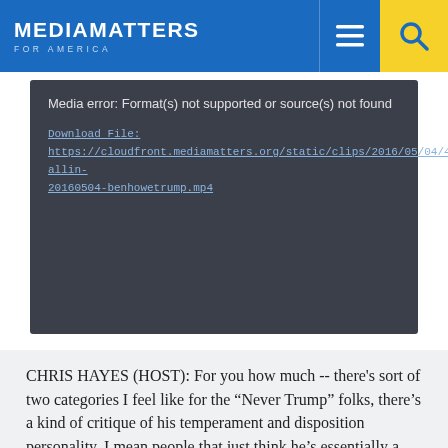MEDIA MATTERS FOR AMERICA
[Figure (screenshot): Media player error box with dark background showing: Media error: Format(s) not supported or source(s) not found. Download File: https://cloudfront.mediamatters.org/static/clips/2016/05/04/46283/msnbc-allin-20160504-benhowetrump.mp4]
CHRIS HAYES (HOST): For you how much -- there's sort of two categories I feel like for the "Never Trump" folks, there's a kind of critique of his temperament and disposition personality. I mean people that just think he's essentially a liar, a